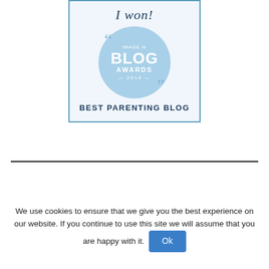[Figure (logo): IMAGE.ie Blog Awards 2014 – Best Parenting Blog award badge. A light blue bordered box with a circular light blue badge containing the text 'IMAGE.ie BLOG AWARDS 2014' with decorative quotation marks, and below the circle 'BEST PARENTING BLOG' in bold dark blue capitals. Cursive 'I won!' text at top.]
We use cookies to ensure that we give you the best experience on our website. If you continue to use this site we will assume that you are happy with it. Ok